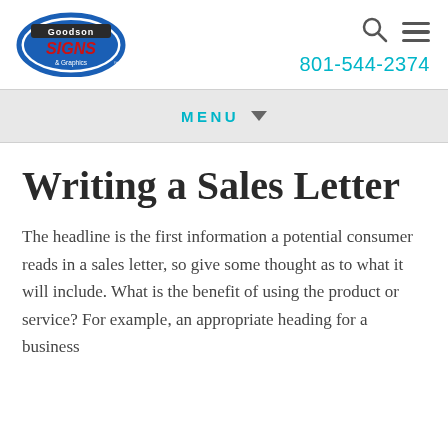[Figure (logo): Goodson Signs & Graphics logo — oval badge with blue border, red 'SIGNS' text, dark banner with 'Goodson' and '& Graphics' text]
801-544-2374
Writing a Sales Letter
The headline is the first information a potential consumer reads in a sales letter, so give some thought as to what it will include. What is the benefit of using the product or service? For example, an appropriate heading for a business